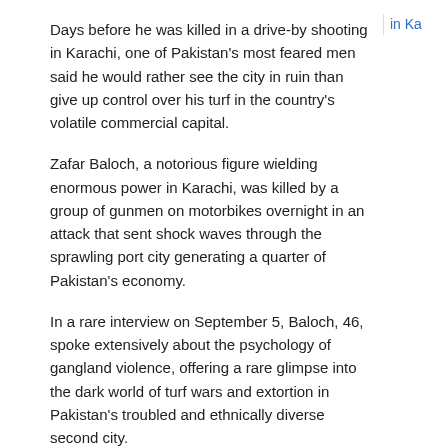Days before he was killed in a drive-by shooting in Karachi, one of Pakistan's most feared men said he would rather see the city in ruin than give up control over his turf in the country's volatile commercial capital.
Zafar Baloch, a notorious figure wielding enormous power in Karachi, was killed by a group of gunmen on motorbikes overnight in an attack that sent shock waves through the sprawling port city generating a quarter of Pakistan's economy.
In a rare interview on September 5, Baloch, 46, spoke extensively about the psychology of gangland violence, offering a rare glimpse into the dark world of turf wars and extortion in Pakistan's troubled and ethnically diverse second city.
Speaking to Reuters in Lyari, one of Karachi's most dangerous neighborhoods, he spoke despite continuous raids by police and attacks by rival gangs.
“I once had 13 police raids in one day. I have bullet and grenade wounds in my legs. I will never run away from Lyari.”
in Ka